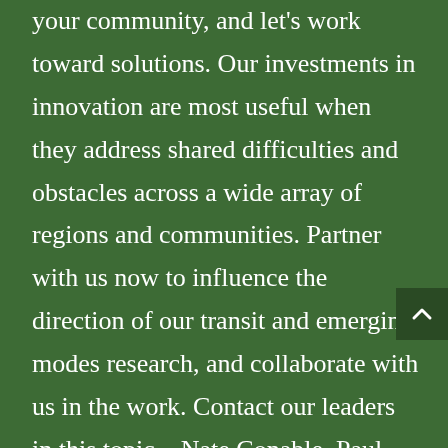your community, and let's work toward solutions. Our investments in innovation are most useful when they address shared difficulties and obstacles across a wide array of regions and communities. Partner with us now to influence the direction of our transit and emerging modes research, and collaborate with us in the work. Contact our leaders in this topic – Nate Conable, Paul Jewel, or Jerry Walters – today to discuss your challenges, needs, and ideas with us. Together, we can meet this unique moment with the resolve that is needed to emerge stronger.